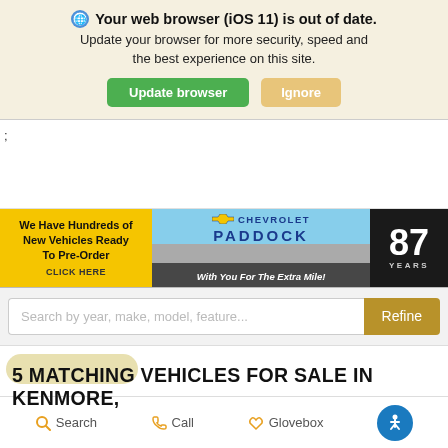Your web browser (iOS 11) is out of date. Update your browser for more security, speed and the best experience on this site. Update browser | Ignore
;
[Figure (screenshot): Paddock Chevrolet dealership banner: yellow left panel 'We Have Hundreds of New Vehicles Ready To Pre-Order / CLICK HERE', center photo of dealership with Chevrolet logo and 'With You For The Extra Mile!' text, right dark panel showing '87 YEARS']
Search by year, make, model, feature...
5 MATCHING VEHICLES FOR SALE IN KENMORE,
Search   Call   Glovebox